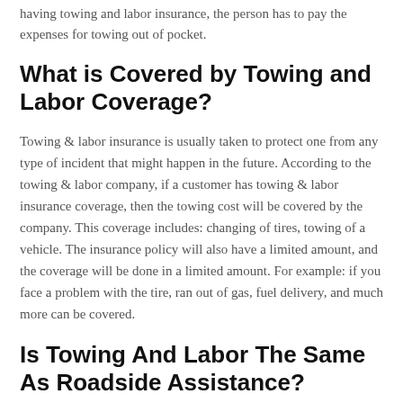having towing and labor insurance, the person has to pay the expenses for towing out of pocket.
What is Covered by Towing and Labor Coverage?
Towing & labor insurance is usually taken to protect one from any type of incident that might happen in the future. According to the towing & labor company, if a customer has towing & labor insurance coverage, then the towing cost will be covered by the company. This coverage includes: changing of tires, towing of a vehicle. The insurance policy will also have a limited amount, and the coverage will be done in a limited amount. For example: if you face a problem with the tire, ran out of gas, fuel delivery, and much more can be covered.
Is Towing And Labor The Same As Roadside Assistance?
Roadside assistance is defined as an "emergency road service